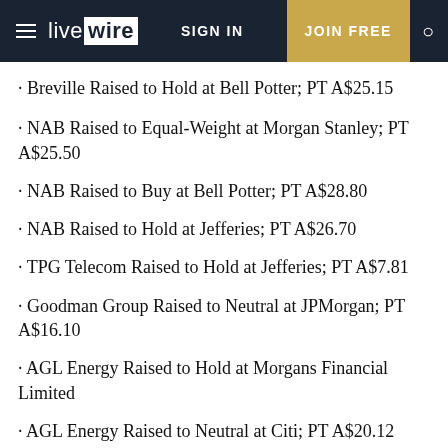livewire | SIGN IN | JOIN FREE
· Breville Raised to Hold at Bell Potter; PT A$25.15
· NAB Raised to Equal-Weight at Morgan Stanley; PT A$25.50
· NAB Raised to Buy at Bell Potter; PT A$28.80
· NAB Raised to Hold at Jefferies; PT A$26.70
· TPG Telecom Raised to Hold at Jefferies; PT A$7.81
· Goodman Group Raised to Neutral at JPMorgan; PT A$16.10
· AGL Energy Raised to Hold at Morgans Financial Limited
· AGL Energy Raised to Neutral at Citi; PT A$20.12